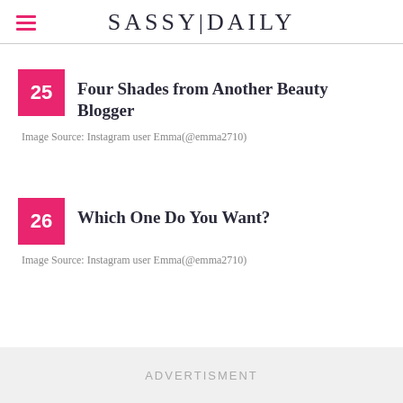SASSY|DAILY
25 – Four Shades from Another Beauty Blogger
Image Source: Instagram user Emma(@emma2710)
26 – Which One Do You Want?
Image Source: Instagram user Emma(@emma2710)
ADVERTISMENT